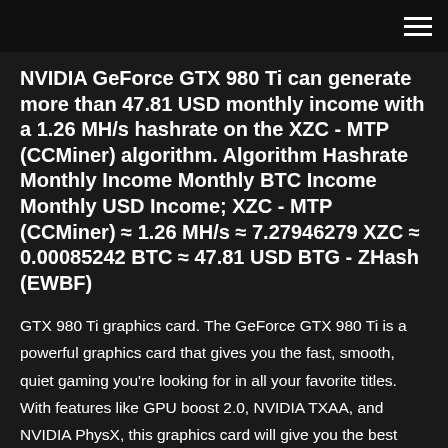NVIDIA GeForce GTX 980 Ti can generate more than 47.81 USD monthly income with a 1.26 MH/s hashrate on the XZC - MTP (CCMiner) algorithm. Algorithm Hashrate Monthly Income Monthly BTC Income Monthly USD Income; XZC - MTP (CCMiner) ≈ 1.26 MH/s ≈ 7.27946279 XZC ≈ 0.00085242 BTC ≈ 47.81 USD BTG - ZHash (EWBF)
GTX 980 Ti graphics card. The GeForce GTX 980 Ti is a powerful graphics card that gives you the fast, smooth, quiet gaming you're looking for in all your favorite titles. With features like GPU boost 2.0, NVIDIA TXAA, and NVIDIA PhysX, this graphics card will give you the best experience.